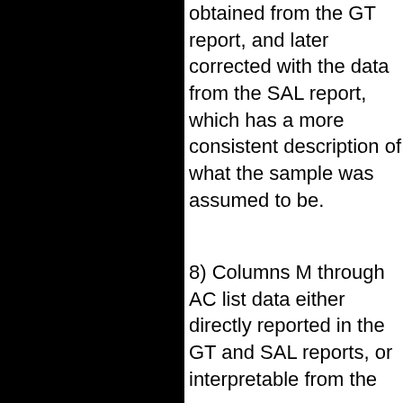obtained from the GT report, and later corrected with the data from the SAL report, which has a more consistent description of what the sample was assumed to be.
8) Columns M through AC list data either directly reported in the GT and SAL reports, or interpretable from the